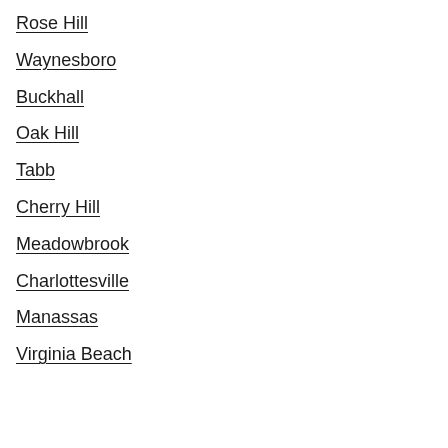Rose Hill
Waynesboro
Buckhall
Oak Hill
Tabb
Cherry Hill
Meadowbrook
Charlottesville
Manassas
Virginia Beach